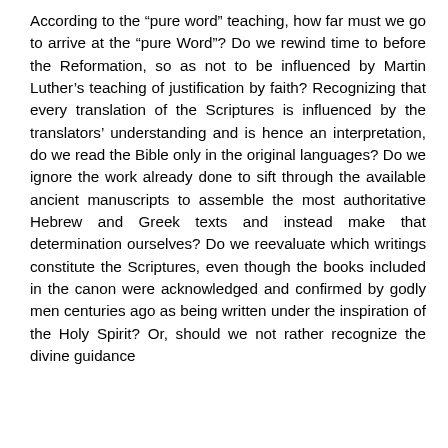According to the “pure word” teaching, how far must we go to arrive at the “pure Word”? Do we rewind time to before the Reformation, so as not to be influenced by Martin Luther’s teaching of justification by faith? Recognizing that every translation of the Scriptures is influenced by the translators’ understanding and is hence an interpretation, do we read the Bible only in the original languages? Do we ignore the work already done to sift through the available ancient manuscripts to assemble the most authoritative Hebrew and Greek texts and instead make that determination ourselves? Do we reevaluate which writings constitute the Scriptures, even though the books included in the canon were acknowledged and confirmed by godly men centuries ago as being written under the inspiration of the Holy Spirit? Or, should we not rather recognize the divine guidance